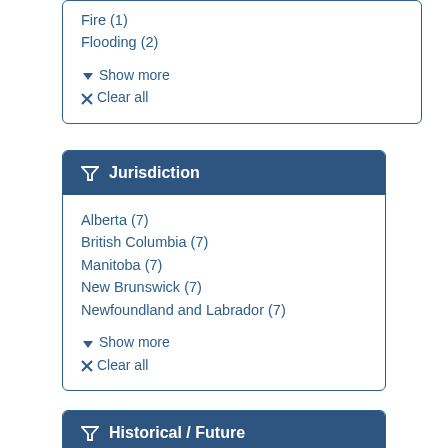Fire (1)
Flooding (2)
✔ Show more
✖ Clear all
Jurisdiction
Alberta (7)
British Columbia (7)
Manitoba (7)
New Brunswick (7)
Newfoundland and Labrador (7)
✔ Show more
✖ Clear all
Historical / Future